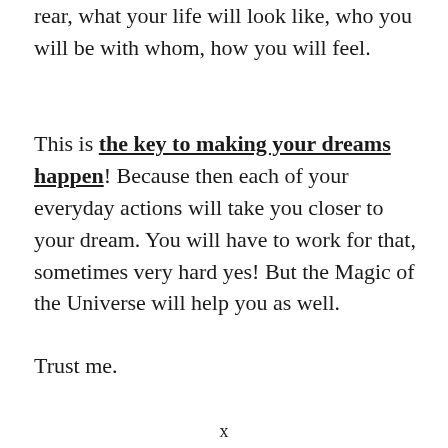rear, what your life will look like, who you will be with whom, how you will feel.
This is the key to making your dreams happen! Because then each of your everyday actions will take you closer to your dream. You will have to work for that, sometimes very hard yes! But the Magic of the Universe will help you as well.
Trust me.
x